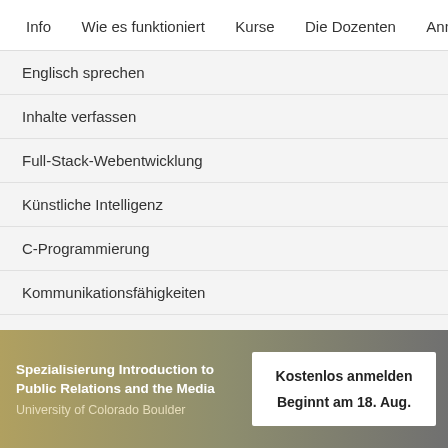Info   Wie es funktioniert   Kurse   Die Dozenten   Anmeld…
Englisch sprechen
Inhalte verfassen
Full-Stack-Webentwicklung
Künstliche Intelligenz
C-Programmierung
Kommunikationsfähigkeiten
Blockchain
Alle Kurse anzeigen
Spezialisierung Introduction to Public Relations and the Media
University of Colorado Boulder
Kostenlos anmelden
Beginnt am 18. Aug.